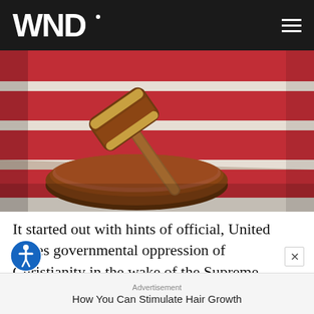WND
[Figure (photo): A wooden judge's gavel resting on its sound block, placed on top of an American flag with red and white stripes visible in the background.]
It started out with hints of official, United States governmental oppression of Christianity in the wake of the Supreme Court's marriage decision, such as "discrimination" complaints against people who refuse t
Advertisement
How You Can Stimulate Hair Growth